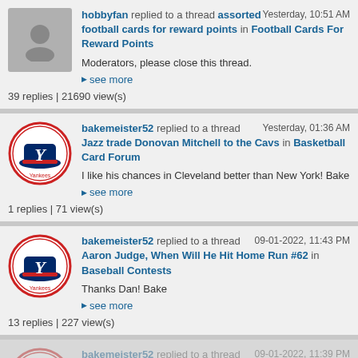hobbyfan replied to a thread assorted football cards for reward points in Football Cards For Reward Points — Yesterday, 10:51 AM
Moderators, please close this thread.
see more
39 replies | 21690 view(s)
bakemeister52 replied to a thread Jazz trade Donovan Mitchell to the Cavs in Basketball Card Forum — Yesterday, 01:36 AM
I like his chances in Cleveland better than New York! Bake
see more
1 replies | 71 view(s)
bakemeister52 replied to a thread Aaron Judge, When Will He Hit Home Run #62 in Baseball Contests — 09-01-2022, 11:43 PM
Thanks Dan! Bake
see more
13 replies | 227 view(s)
bakemeister52 replied to a thread — 09-01-2022, 11:39 PM